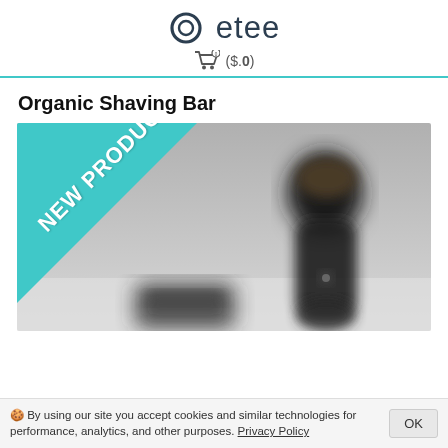etee  ($.0)
Organic Shaving Bar
[Figure (photo): Product photo of shaving brush and razor on a light surface, with a teal diagonal 'NEW PRODUCT' banner in the top-left corner.]
🍪 By using our site you accept cookies and similar technologies for performance, analytics, and other purposes. Privacy Policy   OK